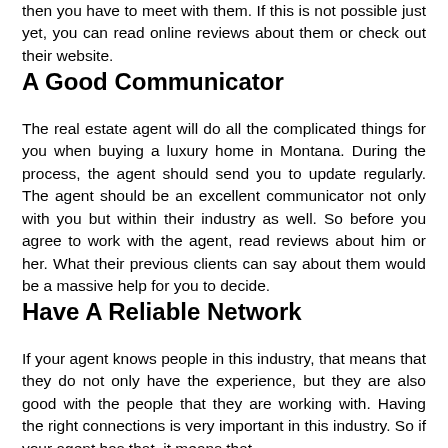then you have to meet with them. If this is not possible just yet, you can read online reviews about them or check out their website.
A Good Communicator
The real estate agent will do all the complicated things for you when buying a luxury home in Montana. During the process, the agent should send you to update regularly. The agent should be an excellent communicator not only with you but within their industry as well. So before you agree to work with the agent, read reviews about him or her. What their previous clients can say about them would be a massive help for you to decide.
Have A Reliable Network
If your agent knows people in this industry, that means that they do not only have the experience, but they are also good with the people that they are working with. Having the right connections is very important in this industry. So if your agent has that, it means that